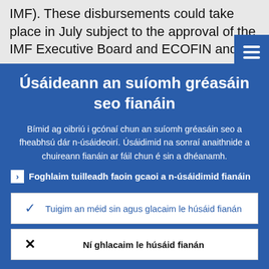IMF). These disbursements could take place in July subject to the approval of the IMF Executive Board and ECOFIN and
Úsáideann an suíomh gréasáin seo fianáin
Bímid ag oibriú i gcónaí chun an suíomh gréasáin seo a fheabhsú dár n-úsáideoirí. Úsáidimid na sonraí anaithnide a chuireann fianáin ar fáil chun é sin a dhéanamh.
Foghlaim tuilleadh faoin gcaoi a n-úsáidimid fianáin
Tuigim an méid sin agus glacaim le húsáid fianán
Ní ghlacaim le húsáid fianán